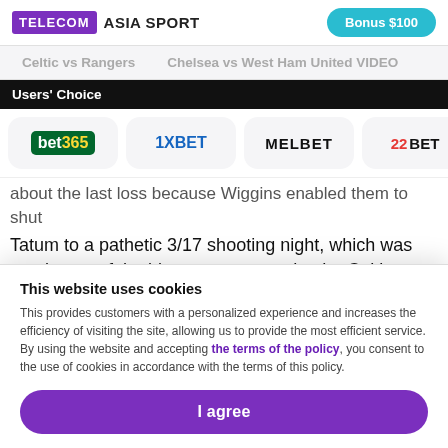TELECOM ASIA SPORT | Bonus $100
Celtic vs Rangers   Chelsea vs West Ham United VIDEO
Users' Choice
[Figure (logo): Bookmaker logos: bet365, 1XBET, MELBET, 22BET]
about the last loss because Wiggins enabled them to shut Tatum to a pathetic 3/17 shooting night, which was surely one of the biggest reasons why the Celtics were down by 12 points in the third quarter. The Warriors were cruising when Stephen Curry was on fire but their two other guards
This website uses cookies
This provides customers with a personalized experience and increases the efficiency of visiting the site, allowing us to provide the most efficient service. By using the website and accepting the terms of the policy, you consent to the use of cookies in accordance with the terms of this policy.
I agree